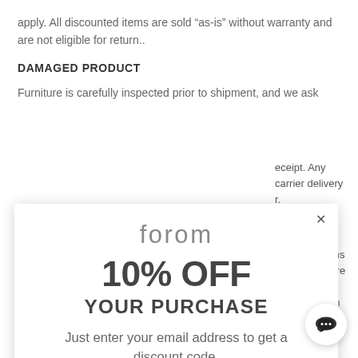apply. All discounted items are sold “as-is” without warranty and are not eligible for return..
DAMAGED PRODUCT
Furniture is carefully inspected prior to shipment, and we ask
receipt. Any carrier delivery r.
“In Person ture is our order items Customer Care ery release M-F 9am-5pm
xchanged for we are d to ou
[Figure (screenshot): Forom brand popup modal with 10% OFF YOUR PURCHASE offer, email input field, and GET DISCOUNT CODE NOW button]
[Figure (other): Chat support bubble icon in bottom right corner]